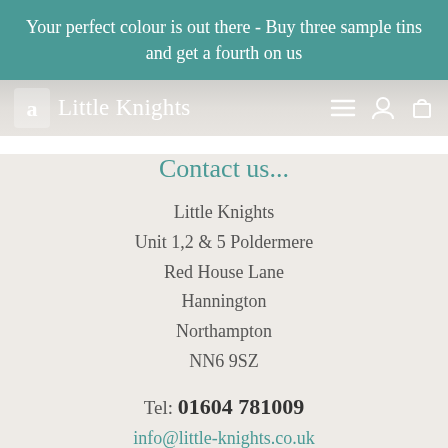Your perfect colour is out there - Buy three sample tins and get a fourth on us
[Figure (logo): Little Knights logo with navigation bar showing hamburger menu, user icon, and shopping cart icon]
Contact us...
Little Knights
Unit 1,2 & 5 Poldermere
Red House Lane
Hannington
Northampton
NN6 9SZ
Tel: 01604 781009
info@little-knights.co.uk